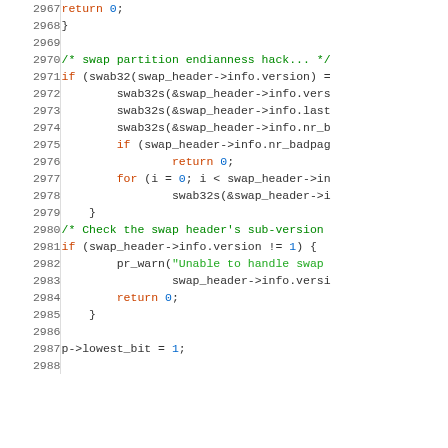Source code listing lines 2967-2988, showing C code for swap partition handling including endianness hack, header version check, and p->lowest_bit assignment.